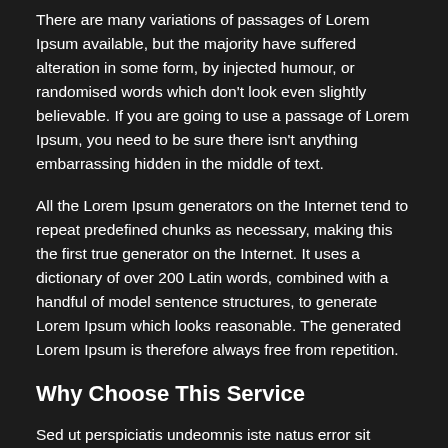There are many variations of passages of Lorem Ipsum available, but the majority have suffered alteration in some form, by injected humour, or randomised words which don't look even slightly believable. If you are going to use a passage of Lorem Ipsum, you need to be sure there isn't anything embarrassing hidden in the middle of text.
All the Lorem Ipsum generators on the Internet tend to repeat predefined chunks as necessary, making this the first true generator on the Internet. It uses a dictionary of over 200 Latin words, combined with a handful of model sentence structures, to generate Lorem Ipsum which looks reasonable. The generated Lorem Ipsum is therefore always free from repetition.
Why Choose This Service
Sed ut perspiciatis undeomnis iste natus error sit voluptatem accusantium dolore Totam rem aperiam with a long list of products and never ending customer support.